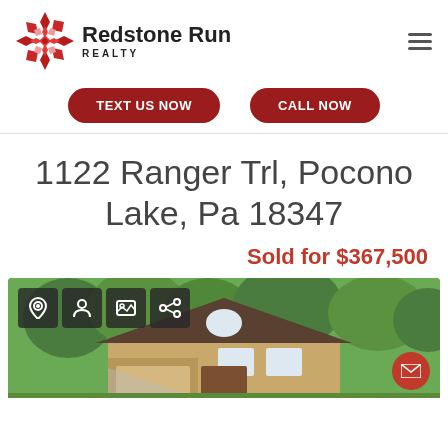[Figure (logo): Redstone Run Realty logo with red geometric snowflake/diamond pattern and bold text]
TEXT US NOW
CALL NOW
1122 Ranger Trl, Pocono Lake, Pa 18347
Sold for $367,500
[Figure (photo): Exterior photo of a stone and siding house surrounded by green trees, with a map pin, street view, gallery, and share icons overlay at top left, and a red email button at bottom right]